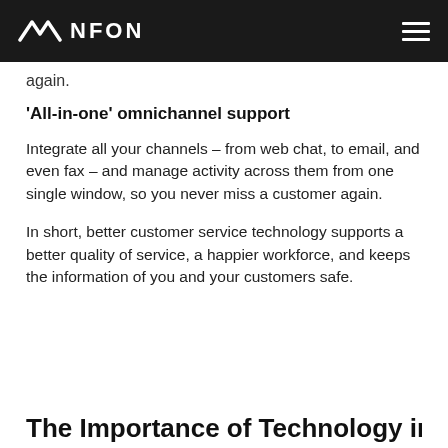NFON
again.
'All-in-one' omnichannel support
Integrate all your channels – from web chat, to email, and even fax – and manage activity across them from one single window, so you never miss a customer again.
In short, better customer service technology supports a better quality of service, a happier workforce, and keeps the information of you and your customers safe.
The Importance of Technology in